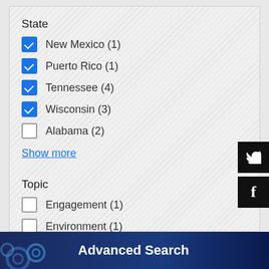State
New Mexico (1)
Puerto Rico (1)
Tennessee (4)
Wisconsin (3)
Alabama (2)
Show more
Topic
Engagement (1)
Environment (1)
Safety (1)
Advanced Search